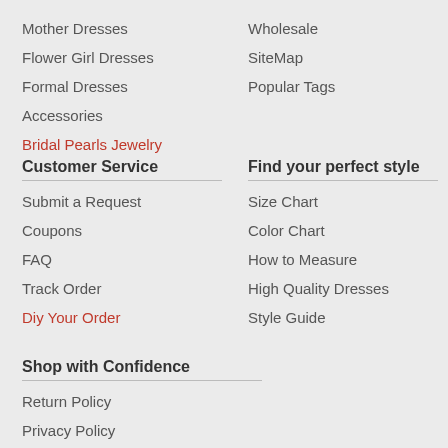Mother Dresses
Flower Girl Dresses
Formal Dresses
Accessories
Bridal Pearls Jewelry
Wholesale
SiteMap
Popular Tags
Customer Service
Submit a Request
Coupons
FAQ
Track Order
Diy Your Order
Find your perfect style
Size Chart
Color Chart
How to Measure
High Quality Dresses
Style Guide
Shop with Confidence
Return Policy
Privacy Policy
Terms of Use